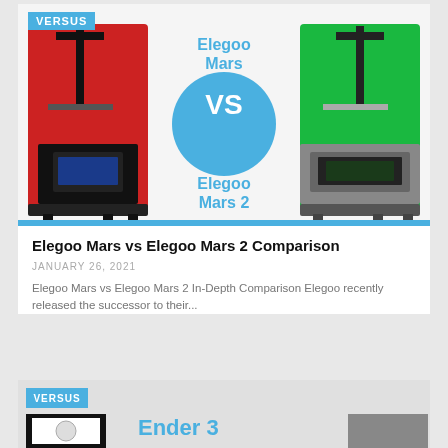[Figure (photo): Elegoo Mars vs Elegoo Mars 2 comparison image showing both 3D printers side by side with a VS circle in the center and blue text labels]
Elegoo Mars vs Elegoo Mars 2 Comparison
JANUARY 26, 2021
Elegoo Mars vs Elegoo Mars 2 In-Depth Comparison Elegoo recently released the successor to their...
[Figure (photo): Ender 3 comparison image - partial view showing beginning of second article card with VERSUS badge]